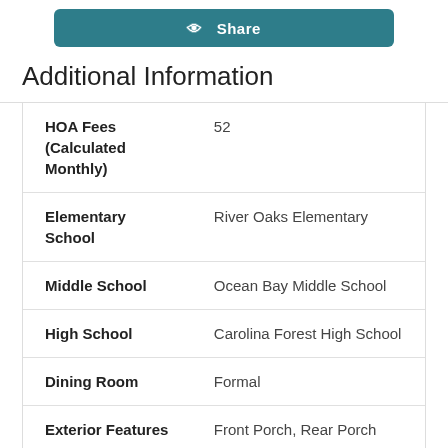[Figure (other): Teal/dark cyan Share button at top]
Additional Information
| Field | Value |
| --- | --- |
| HOA Fees (Calculated Monthly) | 52 |
| Elementary School | River Oaks Elementary |
| Middle School | Ocean Bay Middle School |
| High School | Carolina Forest High School |
| Dining Room | Formal |
| Exterior Features | Front Porch, Rear Porch |
| Pool | Yes |